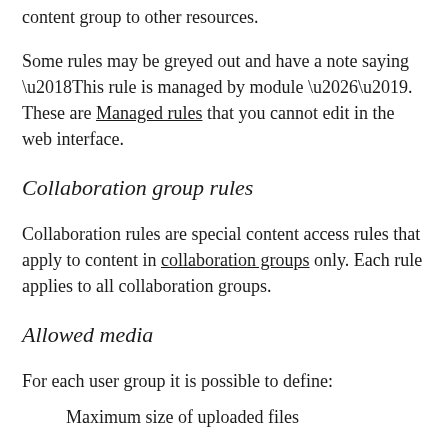content group to other resources.
Some rules may be greyed out and have a note saying ‘This rule is managed by module …’. These are Managed rules that you cannot edit in the web interface.
Collaboration group rules
Collaboration rules are special content access rules that apply to content in collaboration groups only. Each rule applies to all collaboration groups.
Allowed media
For each user group it is possible to define:
Maximum size of uploaded files